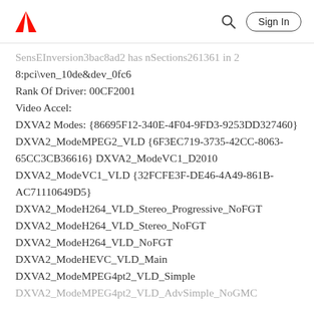Adobe — Sign In
SensEInversion3bac8ad2 has nSections261361 in 2
8:pci\ven_10de&dev_0fc6
Rank Of Driver: 00CF2001
Video Accel:
DXVA2 Modes: {86695F12-340E-4F04-9FD3-9253DD327460} DXVA2_ModeMPEG2_VLD {6F3EC719-3735-42CC-8063-65CC3CB36616} DXVA2_ModeVC1_D2010 DXVA2_ModeVC1_VLD {32FCFE3F-DE46-4A49-861B-AC71110649D5} DXVA2_ModeH264_VLD_Stereo_Progressive_NoFGT DXVA2_ModeH264_VLD_Stereo_NoFGT DXVA2_ModeH264_VLD_NoFGT DXVA2_ModeHEVC_VLD_Main DXVA2_ModeMPEG4pt2_VLD_Simple DXVA2_ModeMPEG4pt2_VLD_AdvSimple_NoGMC